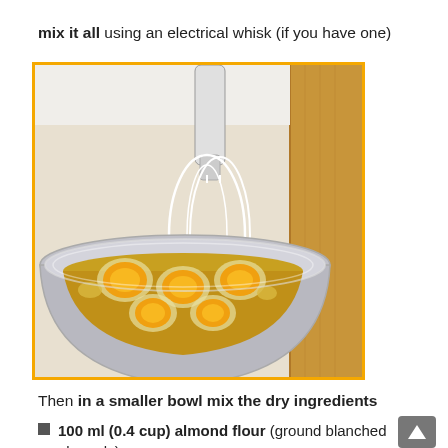mix it all using an electrical whisk (if you have one)
[Figure (photo): A stainless steel mixing bowl containing several cracked eggs with bright orange yolks, along with other wet ingredients, with an electric hand whisk inserted into the bowl. A wooden cutting board is visible to the right.]
Then in a smaller bowl mix the dry ingredients
100 ml (0.4 cup) almond flour (ground blanched almonds)
100 ml (0.4 cup) shredded coconut – grind first to